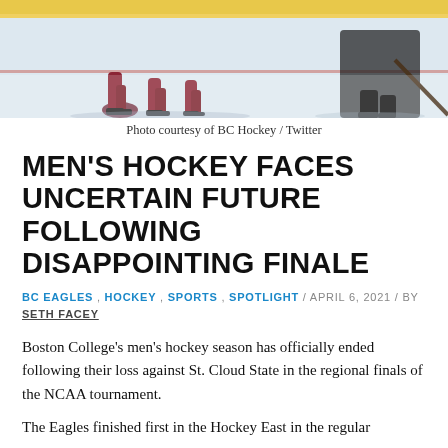[Figure (photo): Hockey players on ice rink, partial view from waist down, during a game]
Photo courtesy of BC Hockey / Twitter
MEN'S HOCKEY FACES UNCERTAIN FUTURE FOLLOWING DISAPPOINTING FINALE
BC EAGLES , HOCKEY , SPORTS , SPOTLIGHT / APRIL 6, 2021 / BY SETH FACEY
Boston College's men's hockey season has officially ended following their loss against St. Cloud State in the regional finals of the NCAA tournament.
The Eagles finished first in the Hockey East in the regular season with a six-game push. BC has made it in